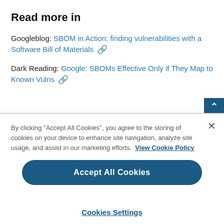Read more in
Googleblog: SBOM in Action: finding vulnerabilities with a Software Bill of Materials 🔗
Dark Reading: Google: SBOMs Effective Only if They Map to Known Vulns 🔗
By clicking "Accept All Cookies", you agree to the storing of cookies on your device to enhance site navigation, analyze site usage, and assist in our marketing efforts. View Cookie Policy
Accept All Cookies
Cookies Settings